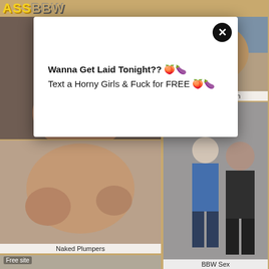ASSBBW
[Figure (photo): Adult website thumbnail - Naked Plumpers]
[Figure (photo): Adult website thumbnail - Fat Women Porn]
[Figure (photo): Adult website thumbnail - Free site / BBW Sex]
[Figure (photo): Adult website thumbnail - Free site bottom left]
Wanna Get Laid Tonight?? 🍑🍆
Text a Horny Girls & Fuck for FREE 🍑🍆